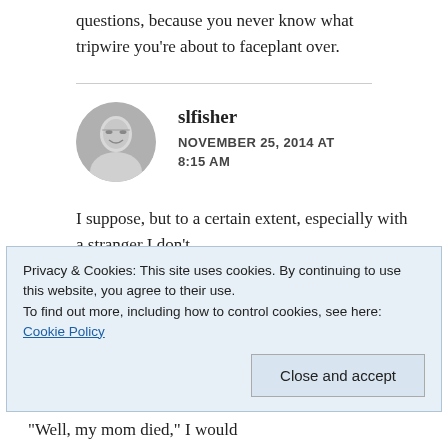questions, because you never know what tripwire you're about to faceplant over.
slfisher
NOVEMBER 25, 2014 AT 8:15 AM
I suppose, but to a certain extent, especially with a stranger I don't
Privacy & Cookies: This site uses cookies. By continuing to use this website, you agree to their use. To find out more, including how to control cookies, see here: Cookie Policy
Close and accept
"Well, my mom died," I would